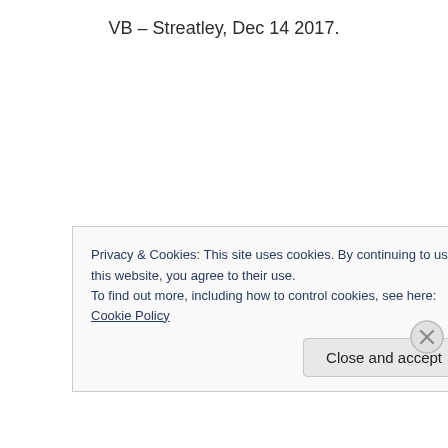VB – Streatley, Dec 14 2017.
Privacy & Cookies: This site uses cookies. By continuing to use this website, you agree to their use.
To find out more, including how to control cookies, see here: Cookie Policy
Close and accept